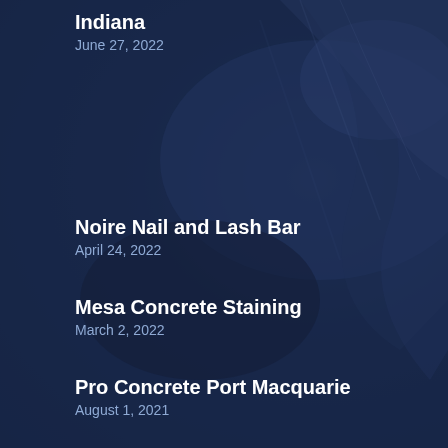Indiana
June 27, 2022
Noire Nail and Lash Bar
April 24, 2022
Mesa Concrete Staining
March 2, 2022
Pro Concrete Port Macquarie
August 1, 2021
Voyante Rennes
February 21, 2022
BG ELECTRICAL & AIR CON